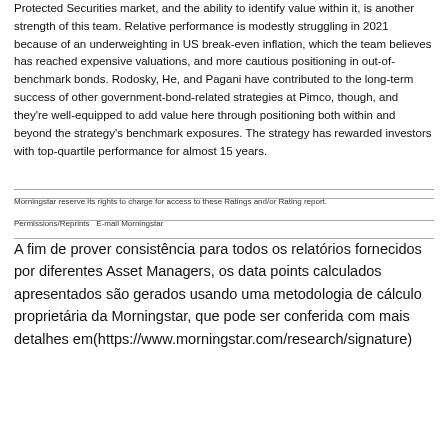Protected Securities market, and the ability to identify value within it, is another strength of this team. Relative performance is modestly struggling in 2021 because of an underweighting in US break-even inflation, which the team believes has reached expensive valuations, and more cautious positioning in out-of-benchmark bonds. Rodosky, He, and Pagani have contributed to the long-term success of other government-bond-related strategies at Pimco, though, and they're well-equipped to add value here through positioning both within and beyond the strategy's benchmark exposures. The strategy has rewarded investors with top-quartile performance for almost 15 years.
Morningstar reserve its rights to charge for access to these Ratings and/or Rating report.
Permissions/Reprints   E-mail Morningstar
A fim de prover consistência para todos os relatórios fornecidos por diferentes Asset Managers, os data points calculados apresentados são gerados usando uma metodologia de cálculo proprietária da Morningstar, que pode ser conferida com mais detalhes em(https://www.morningstar.com/research/signature)